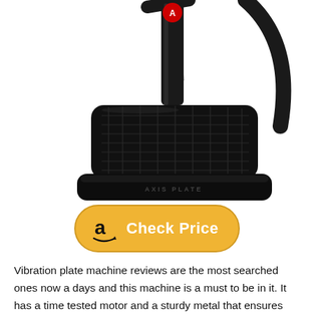[Figure (photo): Product photo of an Axis Plate vibration plate machine with black platform and handlebar, shown from a close-up angle on white background]
[Figure (other): Amazon 'Check Price' button with orange/yellow rounded pill background, Amazon 'a' logo with arrow, and white bold text reading 'Check Price']
Vibration plate machine reviews are the most searched ones now a days and this machine is a must to be in it. It has a time tested motor and a sturdy metal that ensures